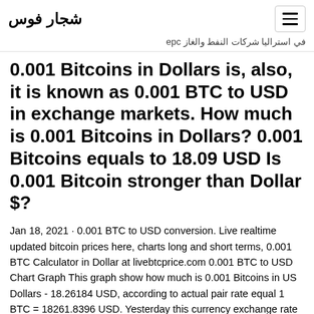شجار فوس (logo text, Arabic) | hamburger menu icon
في استراليا شركات النفط والغاز epc
0.001 Bitcoins in Dollars is, also, it is known as 0.001 BTC to USD in exchange markets. How much is 0.001 Bitcoins in Dollars? 0.001 Bitcoins equals to 18.09 USD Is 0.001 Bitcoin stronger than Dollar $?
Jan 18, 2021 · 0.001 BTC to USD conversion. Live realtime updated bitcoin prices here, charts long and short terms, 0.001 BTC Calculator in Dollar at livebtcprice.com 0.001 BTC to USD Chart Graph This graph show how much is 0.001 Bitcoins in US Dollars - 18.26184 USD, according to actual pair rate equal 1 BTC = 18261.8396 USD. Yesterday this currency exchange rate was on 296.34122 USD higher than today. On the last week